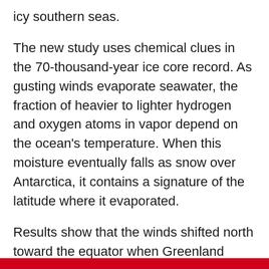icy southern seas.
The new study uses chemical clues in the 70-thousand-year ice core record. As gusting winds evaporate seawater, the fraction of heavier to lighter hydrogen and oxygen atoms in vapor depend on the ocean's temperature. When this moisture eventually falls as snow over Antarctica, it contains a signature of the latitude where it evaporated.
Results show that the winds shifted north toward the equator when Greenland warmed, through a signal that was communicated through the atmosphere.
"When it warms up rapidly in the Northern Hemisphere it creates strong temperature gradients, which influence the rain belts in the tropics. The rain belts in the tropics affect where the winds blow in the Southern Hemisphere.